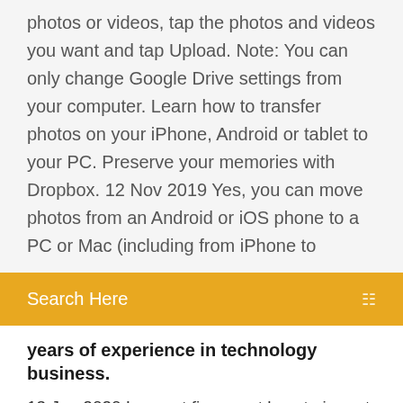photos or videos, tap the photos and videos you want and tap Upload. Note: You can only change Google Drive settings from your computer. Learn how to transfer photos on your iPhone, Android or tablet to your PC. Preserve your memories with Dropbox. 12 Nov 2019 Yes, you can move photos from an Android or iOS phone to a PC or Mac (including from iPhone to
Search Here
years of experience in technology business.
13 Jan 2020 I cannot figure out how to import my photos from my iPhone to a folder on my Windows PC. This is my first iPhone and I am not used to iTunes  9 Sep 2019 Transferring photos from your iPhone or iPad to your Windows 10 PC seems like a hassle, but it's really not that bad. Here are a few simple  9 Jan 2019 Fortunately, there are several quick ways to transfer photos from iPhone to computer. In this article, you'll learn how to copy photos from iPhone  6 Jan 2018 Learn how to transfer